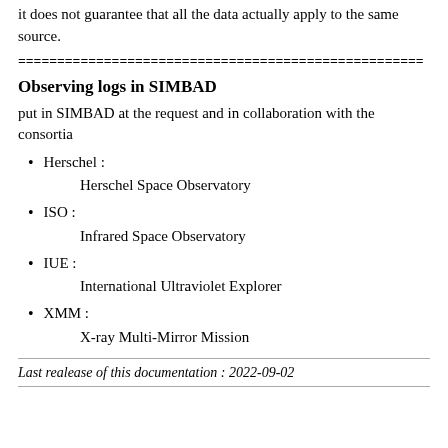it does not guarantee that all the data actually apply to the same source.
=============================================
Observing logs in SIMBAD
put in SIMBAD at the request and in collaboration with the consortia
Herschel : Herschel Space Observatory
ISO : Infrared Space Observatory
IUE : International Ultraviolet Explorer
XMM : X-ray Multi-Mirror Mission
Last realease of this documentation : 2022-09-02